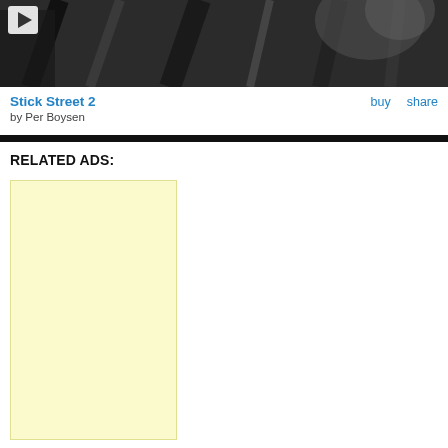[Figure (screenshot): Video thumbnail showing dark street scene with blurry lines; play button in top-left corner]
Stick Street 2  buy  share
by Per Boysen
RELATED ADS:
[Figure (other): Yellow/cream colored advertisement placeholder rectangle]